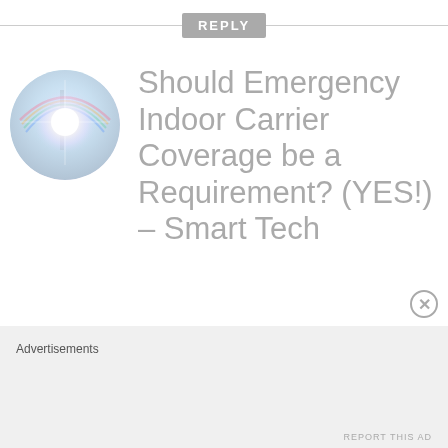REPLY
[Figure (illustration): Circular avatar image showing a bright light flare with rainbow colors against a light blue sky, resembling a lens flare or light through a bubble.]
Should Emergency Indoor Carrier Coverage be a Requirement? (YES!) – Smart Tech
Advertisements
REPORT THIS AD